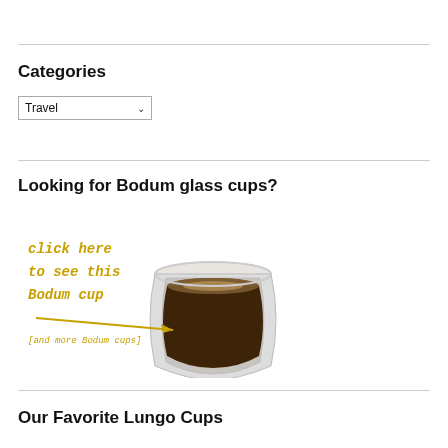Categories
Travel
Looking for Bodum glass cups?
[Figure (illustration): Advertisement banner showing a Bodum double-wall glass cup filled with espresso/lungo coffee. Yellow text reads: 'click here to see this Bodum cup [and more Bodum cups]' with an arrow pointing to the cup.]
Our Favorite Lungo Cups